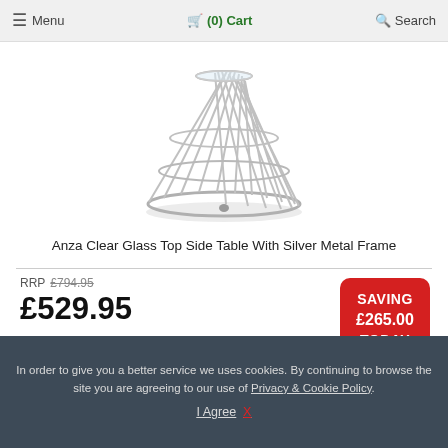≡ Menu   🛒 (0) Cart   🔍 Search
[Figure (photo): A silver wire metal frame side table with conical/cage-style design, viewed from above at an angle, showing the lattice-work metal rods forming a cone shape resting on a circular base.]
Anza Clear Glass Top Side Table With Silver Metal Frame
RRP £794.95
£529.95
SAVING £265.00 TODAY
✔ EXTRA 10% OFF SPEND £750 OR MORE
✔ FREE DELIVERY MOST OF UK
In order to give you a better service we uses cookies. By continuing to browse the site you are agreeing to our use of Privacy & Cookie Policy.
I Agree  X